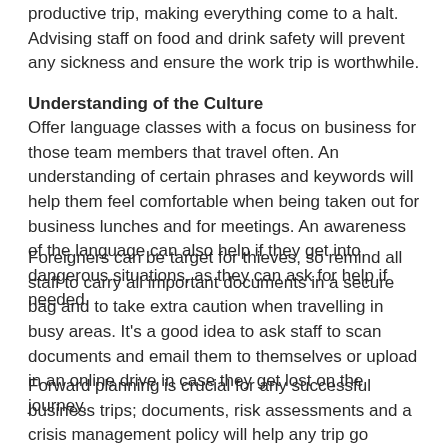productive trip, making everything come to a halt. Advising staff on food and drink safety will prevent any sickness and ensure the work trip is worthwhile.
Understanding of the Culture
Offer language classes with a focus on business for those team members that travel often. An understanding of certain phrases and keywords will help them feel comfortable when being taken out for business lunches and for meetings. An awareness of the language can also help if they get into dangerous situations, as they can ask for help if needed.
Foreigners can be target for thieves, so remind all staff to carry all important documents in a secure bag and to take extra caution when travelling in busy areas. It's a good idea to ask staff to scan documents and email them to themselves or upload in an online drive in case they get lost on the journey.
Forward planning is crucial for any successful business trips; documents, risk assessments and a crisis management policy will help any trip go smoothly, wherever in the world you are sending your team.